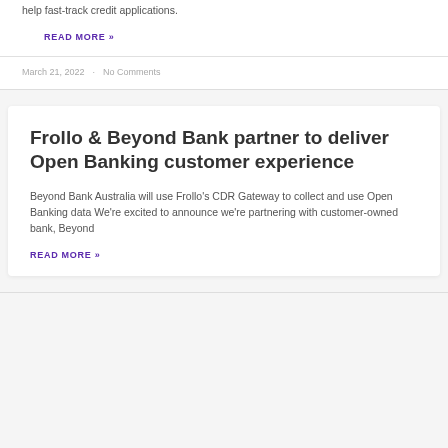help fast-track credit applications.
READ MORE »
March 21, 2022 · No Comments
Frollo & Beyond Bank partner to deliver Open Banking customer experience
Beyond Bank Australia will use Frollo's CDR Gateway to collect and use Open Banking data We're excited to announce we're partnering with customer-owned bank, Beyond
READ MORE »